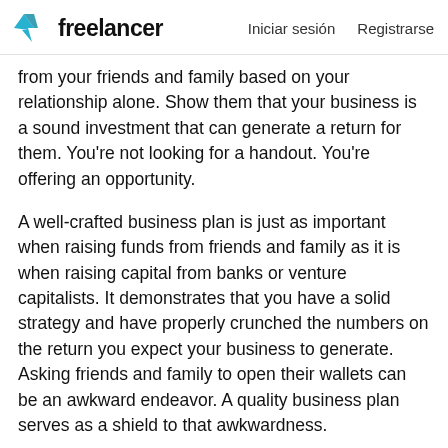freelancer   Iniciar sesión   Registrarse
from your friends and family based on your relationship alone. Show them that your business is a sound investment that can generate a return for them. You're not looking for a handout. You're offering an opportunity.
A well-crafted business plan is just as important when raising funds from friends and family as it is when raising capital from banks or venture capitalists. It demonstrates that you have a solid strategy and have properly crunched the numbers on the return you expect your business to generate. Asking friends and family to open their wallets can be an awkward endeavor. A quality business plan serves as a shield to that awkwardness.
Only you can gauge whether or not it's wise to pursue funding from your social circle. A lot of this decision will